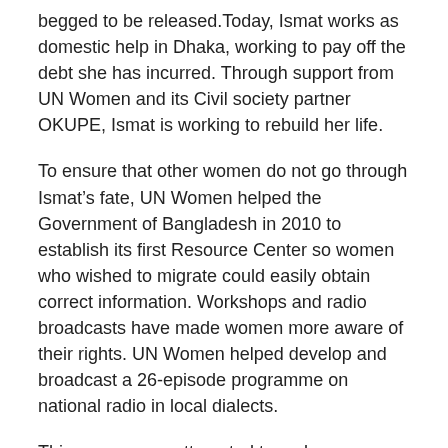begged to be released.Today, Ismat works as domestic help in Dhaka, working to pay off the debt she has incurred. Through support from UN Women and its Civil society partner OKUPE, Ismat is working to rebuild her life.
To ensure that other women do not go through Ismat’s fate, UN Women helped the Government of Bangladesh in 2010 to establish its first Resource Center so women who wished to migrate could easily obtain correct information. Workshops and radio broadcasts have made women more aware of their rights. UN Women helped develop and broadcast a 26-episode programme on national radio in local dialects.
This programme attempted to make women migrant workers from rural districts aware of the safest ways to migrate abroad. After receiving an overwhelming response with women calling in with queries, the programme is now being replicated in 7 other local stations across the country.